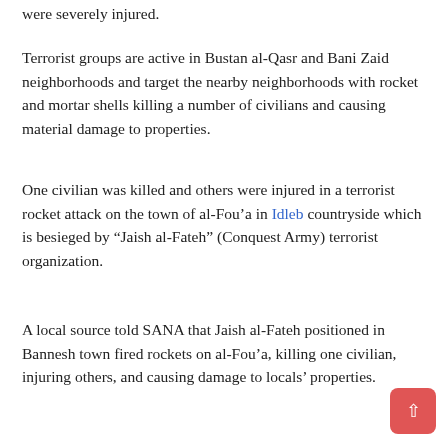were severely injured.
Terrorist groups are active in Bustan al-Qasr and Bani Zaid neighborhoods and target the nearby neighborhoods with rocket and mortar shells killing a number of civilians and causing material damage to properties.
One civilian was killed and others were injured in a terrorist rocket attack on the town of al-Fou’a in Idleb countryside which is besieged by “Jaish al-Fateh” (Conquest Army) terrorist organization.
A local source told SANA that Jaish al-Fateh positioned in Bannesh town fired rockets on al-Fou’a, killing one civilian, injuring others, and causing damage to locals’ properties.
On Friday,  a terrorist suicide bomber from the Islamic state (ISIS) blew himself up in the village of Touk al-Milh to the west of Hasaka, leaving two civilians dead.
A police source told SANA that an ISIS terrorist who was